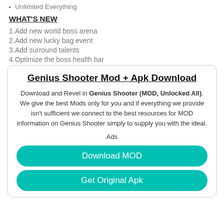Unlimited Everything
WHAT'S NEW
1.Add new world boss arena
2.Add new lucky bag event
3.Add surround talents
4.Optimize the boss health bar
Genius Shooter Mod + Apk Download
Download and Revel in Genius Shooter (MOD, Unlocked All). We give the best Mods only for you and if everything we provide isn't sufficient we connect to the best resources for MOD information on Genius Shooter simply to supply you with the ideal.
Ads
Download MOD
Get Original Apk